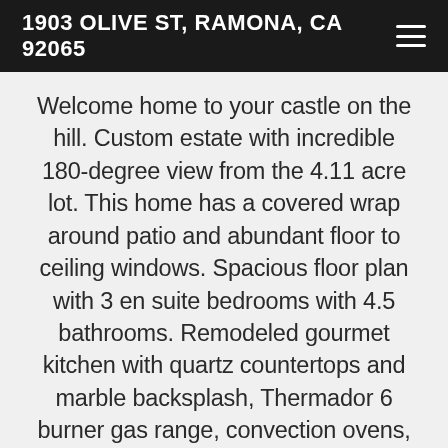1903 OLIVE ST, RAMONA, CA 92065
Welcome home to your castle on the hill. Custom estate with incredible 180-degree view from the 4.11 acre lot. This home has a covered wrap around patio and abundant floor to ceiling windows. Spacious floor plan with 3 en suite bedrooms with 4.5 bathrooms. Remodeled gourmet kitchen with quartz countertops and marble backsplash, Thermador 6 burner gas range, convection ovens, bread warmer, pantry and dumbwaiter. Enjoy casual meals in the small dining area or use the large formal dining room with a stunning crystal chandelier. A few steps down leads to a formal living